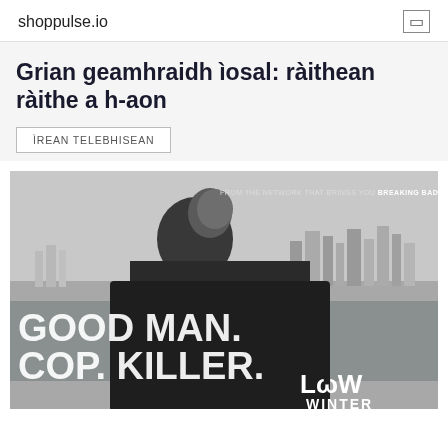shoppulse.io
Grian geamhraidh ìosal: ràithean ràithe a h-aon
ÌREAN TELEBHISEAN
[Figure (photo): Black and white promotional image for TV show 'Low Winter Sun' showing a bald man in dark clothing standing near a waterfront with a city skyline in background. Text overlaid reads 'GOOD MAN. COP. KILLER.' and 'FROM THE NETWORK THAT BRINGS YOU BREAKING BAD' and 'LOW WINTER' logo at bottom right.]